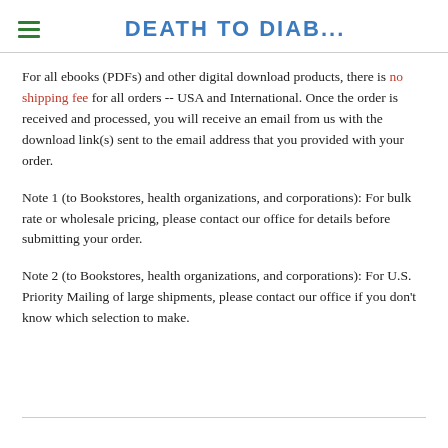DEATH TO DIAB...
For all ebooks (PDFs) and other digital download products, there is no shipping fee for all orders -- USA and International. Once the order is received and processed, you will receive an email from us with the download link(s) sent to the email address that you provided with your order.
Note 1 (to Bookstores, health organizations, and corporations): For bulk rate or wholesale pricing, please contact our office for details before submitting your order.
Note 2 (to Bookstores, health organizations, and corporations): For U.S. Priority Mailing of large shipments, please contact our office if you don't know which selection to make.